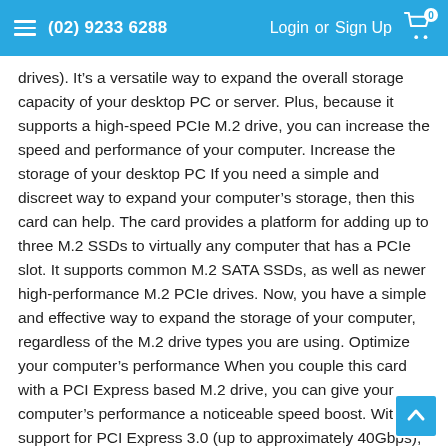(02) 9233 6288  Login or Sign Up  0
drives). It’s a versatile way to expand the overall storage capacity of your desktop PC or server. Plus, because it supports a high-speed PCIe M.2 drive, you can increase the speed and performance of your computer. Increase the storage of your desktop PC If you need a simple and discreet way to expand your computer’s storage, then this card can help. The card provides a platform for adding up to three M.2 SSDs to virtually any computer that has a PCIe slot. It supports common M.2 SATA SSDs, as well as newer high-performance M.2 PCIe drives. Now, you have a simple and effective way to expand the storage of your computer, regardless of the M.2 drive types you are using. Optimize your computer’s performance When you couple this card with a PCI Express based M.2 drive, you can give your computer’s performance a noticeable speed boost. With support for PCI Express 3.0 (up to approximately 40Gbps), you can install the latest high-performance M.2 PCIe SSDs inside your computer. With faster performance, you can get more work done in less time. Peace of mind, with simple and cost-effective data recovery Due to their performance and size advantages, M.2 drives are